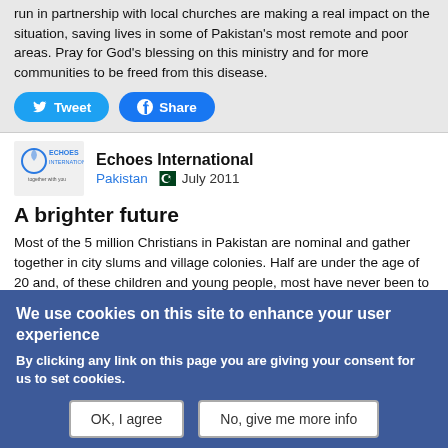run in partnership with local churches are making a real impact on the situation, saving lives in some of Pakistan's most remote and poor areas. Pray for God's blessing on this ministry and for more communities to be freed from this disease.
Tweet  Share
Echoes International
Pakistan  July 2011
A brighter future
Most of the 5 million Christians in Pakistan are nominal and gather together in city slums and village colonies. Half are under the age of 20 and, of these children and young people, most have never been to school. There are not enough government schools to meet the needs of the exploding population and prejudice against Christians deters many parents from sending their children to schools that reinforce Islamic values. There are few church
We use cookies on this site to enhance your user experience
By clicking any link on this page you are giving your consent for us to set cookies.
OK, I agree   No, give me more info